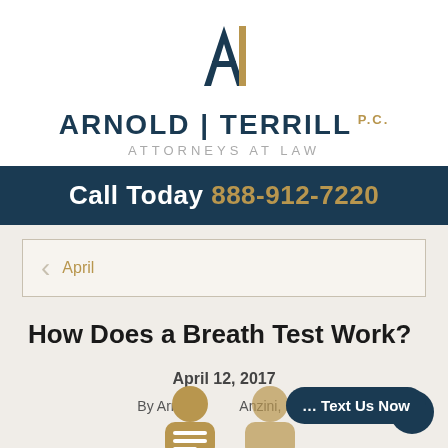[Figure (logo): Arnold Terrill PC law firm logo with large stylized 'AI' letters in navy and gold, above the firm name]
ARNOLD | TERRILL P.C. ATTORNEYS AT LAW
Call Today 888-912-7220
April
How Does a Breath Test Work?
April 12, 2017
By Arnold Anzini, P.C.
[Figure (screenshot): Text Us Now chat button widget in bottom right corner]